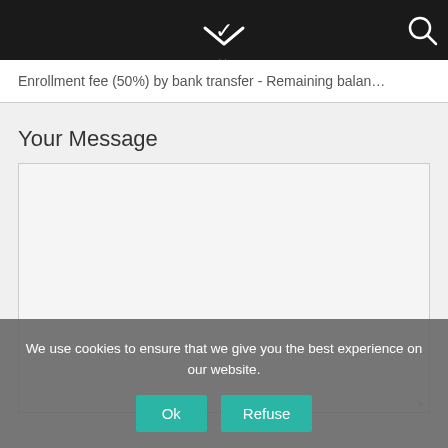Enrollment fee (50%) by bank transfer - Remaining balan...
Your Message
[Figure (screenshot): Empty textarea input field with light gray background]
We use cookies to ensure that we give you the best experience on our website.
Ok   Refuse